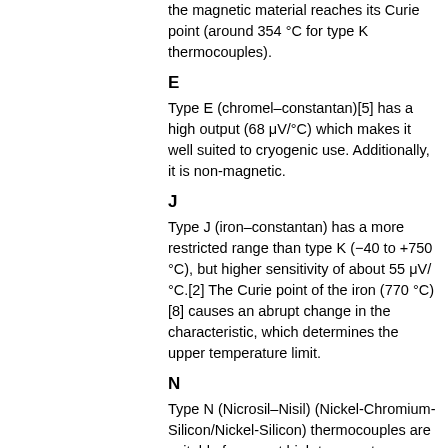the magnetic material reaches its Curie point (around 354 °C for type K thermocouples).
E
Type E (chromel–constantan)[5] has a high output (68 μV/°C) which makes it well suited to cryogenic use. Additionally, it is non-magnetic.
J
Type J (iron–constantan) has a more restricted range than type K (−40 to +750 °C), but higher sensitivity of about 55 μV/°C.[2] The Curie point of the iron (770 °C)[8] causes an abrupt change in the characteristic, which determines the upper temperature limit.
N
Type N (Nicrosil–Nisil) (Nickel-Chromium-Silicon/Nickel-Silicon) thermocouples are suitable for use at high temperatures, exceeding 1200 °C, due to their stability and ability to resist high temperature oxidation. Sensitivity is about 39 μV/°C at 900 °C, slightly lower than type K. Designed to be an improved